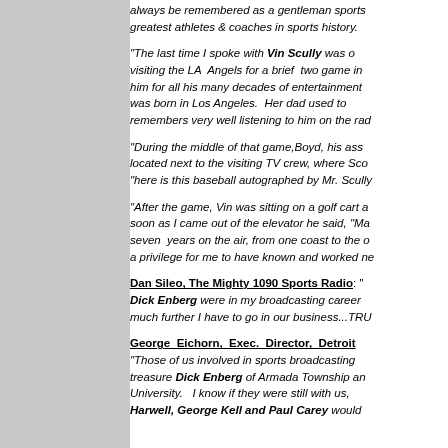always be remembered as a gentleman sports... greatest athletes & coaches in sports history.
"The last time I spoke with Vin Scully was... visiting the LA Angels for a brief two game in... him for all his many decades of entertainment... was born in Los Angeles. Her dad used to... remembers very well listening to him on the rad...
"During the middle of that game, Boyd, his ass... located next to the visiting TV crew, where Sc... "here is this baseball autographed by Mr. Scully...
"After the game, Vin was sitting on a golf cart... soon as I came out of the elevator he said, "Ma... seven years on the air, from one coast to the c... a privilege for me to have known and worked ne...
Dan Sileo, The Mighty 1090 Sports Radio: "... Dick Enberg were in my broadcasting career... much further I have to go in our business...TRU...
George Eichorn, Exec. Director, Detroit... "Those of us involved in sports broadcasting... treasure Dick Enberg of Armada Township an... University. I know if they were still with us,... Harwell, George Kell and Paul Carey would...